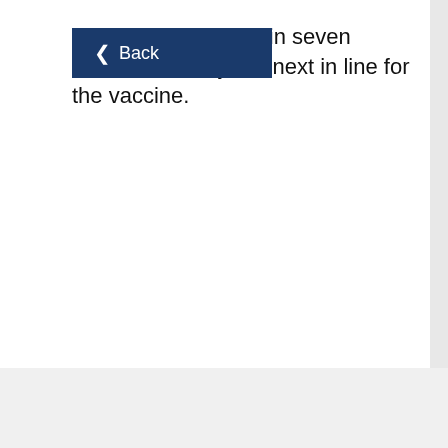[Figure (screenshot): A dark blue navigation back button with a left-pointing chevron arrow and the word 'Back' in white text on a dark blue background.]
ts in nursing homes in seven Eastern Norway are next in line for the vaccine.